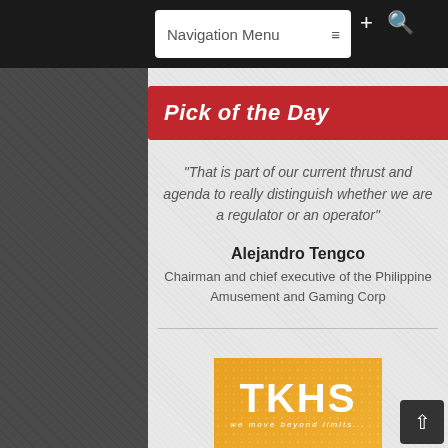Navigation Menu
Pick of the Day
"That is part of our current thrust and agenda to really distinguish whether we are a regulator or an operator"
Alejandro Tengco
Chairman and chief executive of the Philippine Amusement and Gaming Corp
[Figure (logo): TKHS logo with orange background and tagline 'we move beyond limits...']